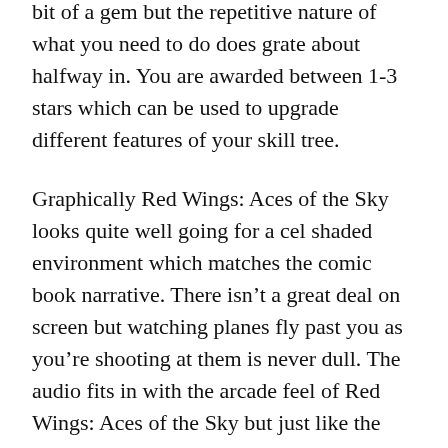bit of a gem but the repetitive nature of what you need to do does grate about halfway in. You are awarded between 1-3 stars which can be used to upgrade different features of your skill tree.
Graphically Red Wings: Aces of the Sky looks quite well going for a cel shaded environment which matches the comic book narrative. There isn't a great deal on screen but watching planes fly past you as you're shooting at them is never dull. The audio fits in with the arcade feel of Red Wings: Aces of the Sky but just like the graphics it's not particularly deep on that front. There is local co-op in Red Wings: Aces of the Sky which is quite entertaining as you try to organise some kind of plan to beat the enemy.